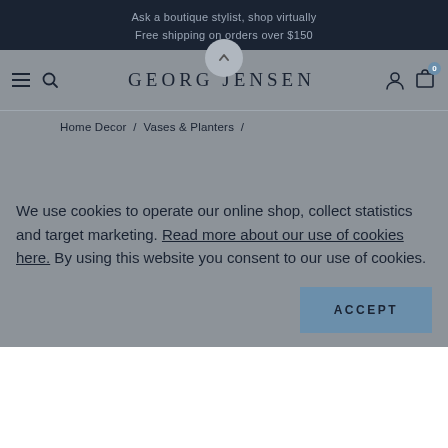Ask a boutique stylist, shop virtually
Free shipping on orders over $150
GEORG JENSEN
Home Decor / Vases & Planters /
We use cookies to operate our online shop, collect statistics and target marketing. Read more about our use of cookies here. By using this website you consent to our use of cookies.